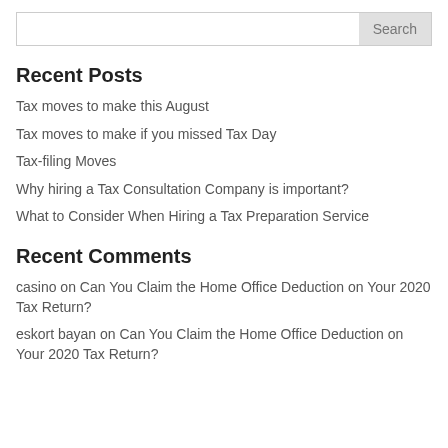Recent Posts
Tax moves to make this August
Tax moves to make if you missed Tax Day
Tax-filing Moves
Why hiring a Tax Consultation Company is important?
What to Consider When Hiring a Tax Preparation Service
Recent Comments
casino on Can You Claim the Home Office Deduction on Your 2020 Tax Return?
eskort bayan on Can You Claim the Home Office Deduction on Your 2020 Tax Return?